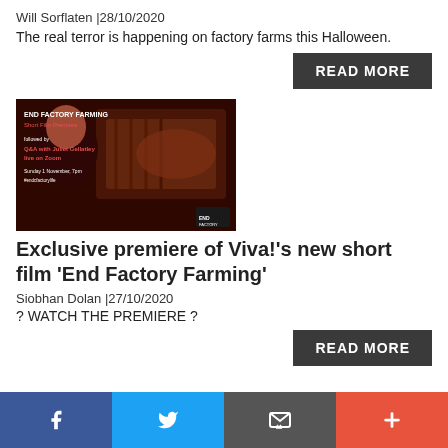Will Sorflaten | 28/10/2020
The real terror is happening on factory farms this Halloween.
READ MORE
[Figure (photo): Promotional image for End Factory Farming Short Film Premiere event, featuring a woman in dark lighting with text overlaid about a Q&A with Juliet Gellatley live on Zoom, Sunday 1 November 7pm]
Exclusive premiere of Viva!'s new short film 'End Factory Farming'
Siobhan Dolan | 27/10/2020
? WATCH THE PREMIERE ?
READ MORE